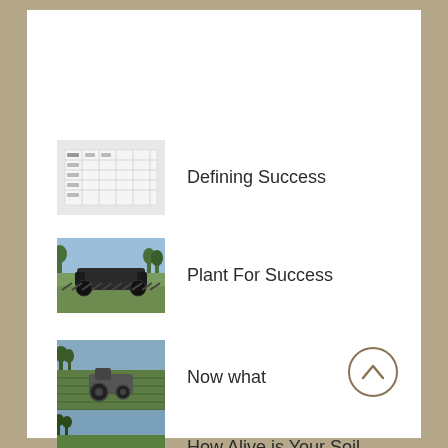Defining Success
Plant For Success
Now what
How Alive is Your Soil
[Figure (illustration): Back to top navigation button with upward chevron arrow inside a circle]